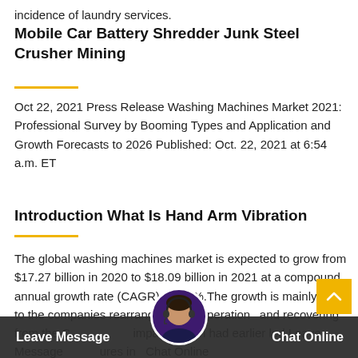incidence of laundry services.
Mobile Car Battery Shredder Junk Steel Crusher Mining
Oct 22, 2021 Press Release Washing Machines Market 2021: Professional Survey by Booming Types and Application and Growth Forecasts to 2026 Published: Oct. 22, 2021 at 6:54 a.m. ET
Introduction What Is Hand Arm Vibration
The global washing machines market is expected to grow from $17.27 billion in 2020 to $18.09 billion in 2021 at a compound annual growth rate (CAGR) of 4.7%.The growth is mainly due to the companies rearranging their operations and recovering from the COVID impact, which had earlier led Leave Message containment measures in Chat Online distance,ogrammes washing, and the closure of some
[Figure (other): Chat support avatar and chat bar overlay with Leave Message and Chat Online buttons, and a scroll-to-top yellow button]